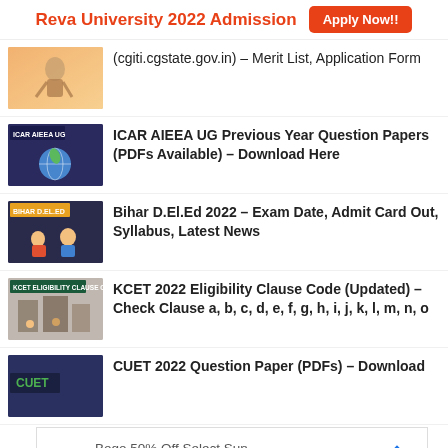Reva University 2022 Admission  Apply Now!!
(cgiti.cgstate.gov.in) – Merit List, Application Form
ICAR AIEEA UG Previous Year Question Papers (PDFs Available) – Download Here
Bihar D.El.Ed 2022 – Exam Date, Admit Card Out, Syllabus, Latest News
KCET 2022 Eligibility Clause Code (Updated) – Check Clause a, b, c, d, e, f, g, h, i, j, k, l, m, n, o
CUET 2022 Question Paper (PDFs) – Download
[Figure (advertisement): Walgreens ad: Bogo 50% Off Select Sun Care - Save Today at Walgreens]